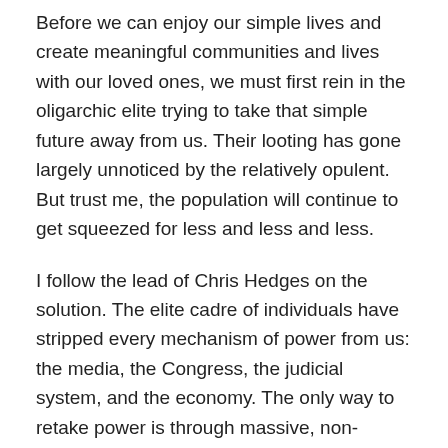Before we can enjoy our simple lives and create meaningful communities and lives with our loved ones, we must first rein in the oligarchic elite trying to take that simple future away from us. Their looting has gone largely unnoticed by the relatively opulent. But trust me, the population will continue to get squeezed for less and less and less.
I follow the lead of Chris Hedges on the solution. The elite cadre of individuals have stripped every mechanism of power from us: the media, the Congress, the judicial system, and the economy. The only way to retake power is through massive, non-violent, civil disobedience. We must obstruct, disrupt, and paralyze the gears of the system. As Mario Savio says: “There’s a time when the operation of the machine becomes so odious, makes you so sick at